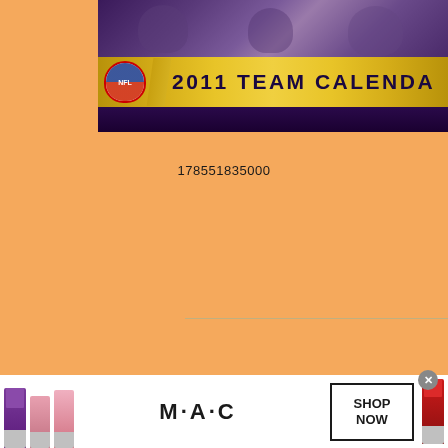[Figure (photo): NFL 2011 Team Calendar product banner with NFL shield logo on gold background, showing '2011 TEAM CALENDAR' text, with purple player background above]
178551835000
[Figure (photo): New England Patriots pennant product image showing navy blue pennant with red panel and 'NEW ENGLAND' text, with ghost watermark text in background]
[Figure (photo): MAC cosmetics advertisement showing lipsticks in purple, pink, and red with MAC logo and 'SHOP NOW' button. Infolinks branding visible. Close (X) button shown.]